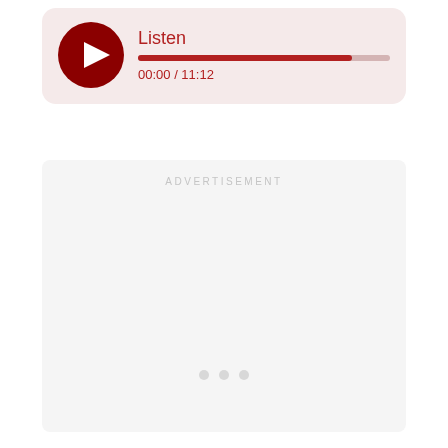[Figure (other): Audio player card with dark red play button circle, title 'Listen', a progress bar (mostly filled in dark red), and time display '00:00 / 11:12' on a light pinkish-beige background]
ADVERTISEMENT